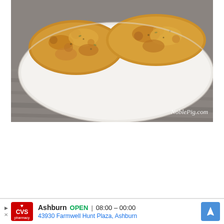[Figure (photo): Close-up photo of a baked dish with golden, breadcrumb-crusted food items on a white oval plate, set on a grey wooden surface. Watermark reads 'NoblePig.com' in bottom-right corner.]
[Figure (other): CVS Pharmacy advertisement banner showing: CVS pharmacy logo (red background), location 'Ashburn', status 'OPEN', hours '08:00 - 00:00', address '43930 Farmwell Hunt Plaza, Ashburn', and a blue navigation/directions diamond icon.]